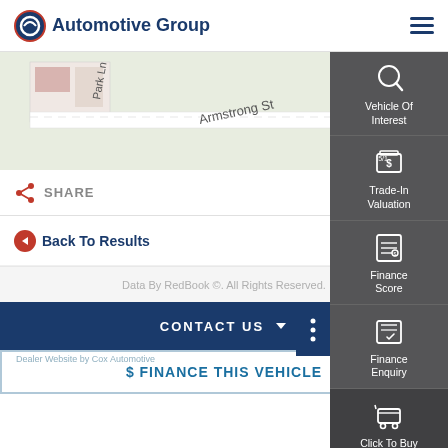Q Automotive Group
[Figure (map): Street map showing Park Ln and Armstrong St area]
SHARE
Back To Results
Ba...
Data By RedBook ©. All Rights Reserved.
CONTACT US
Dealer Website by Cox Automotive
$ FINANCE THIS VEHICLE
[Figure (screenshot): Right sidebar with icons: Vehicle Of Interest, Trade-In Valuation, Finance Score, Finance Enquiry, Click To Buy]